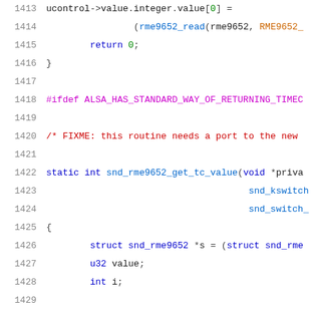[Figure (screenshot): Source code listing showing C code for ALSA audio driver, lines 1413-1433, with syntax highlighting. Line numbers in gray on left, code in various colors (blue for keywords, red for comments, purple for preprocessor directives).]